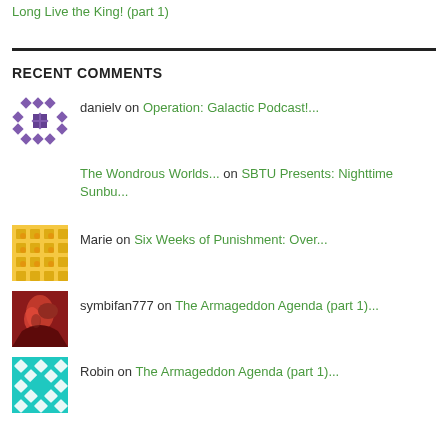Long Live the King! (part 1)
RECENT COMMENTS
danielv on Operation: Galactic Podcast!...
The Wondrous Worlds... on SBTU Presents: Nighttime Sunbu...
Marie on Six Weeks of Punishment: Over...
symbifan777 on The Armageddon Agenda (part 1)...
Robin on The Armageddon Agenda (part 1)...